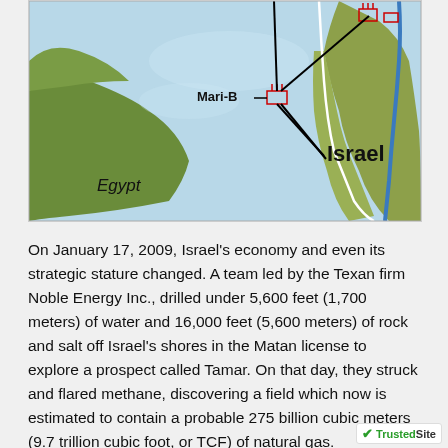[Figure (map): Map showing the Mediterranean Sea region off the coasts of Egypt and Israel, with a marked offshore gas platform labeled Mari-B and pipeline/exploration lines indicated by black lines. Egypt is labeled in the lower left, Israel in the lower right, with terrain and sea features visible.]
On January 17, 2009, Israel's economy and even its strategic stature changed. A team led by the Texan firm Noble Energy Inc., drilled under 5,600 feet (1,700 meters) of water and 16,000 feet (5,600 meters) of rock and salt off Israel's shores in the Matan license to explore a prospect called Tamar. On that day, they struck and flared methane, discovering a field which now is estimated to contain a probable 275 billion cubic meters (9.7 trillion cubic foot, or TCF) of natural gas.